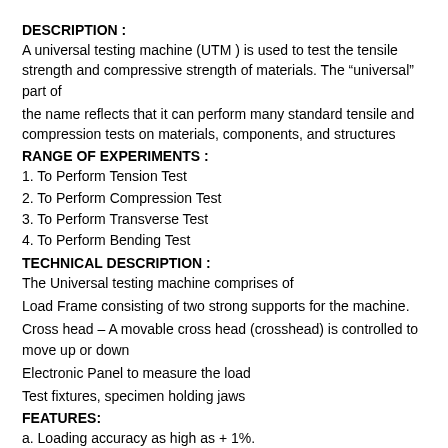DESCRIPTION :
A universal testing machine (UTM ) is used to test the tensile strength and compressive strength of materials. The “universal” part of
the name reflects that it can perform many standard tensile and compression tests on materials, components, and structures
RANGE OF EXPERIMENTS :
1. To Perform Tension Test
2. To Perform Compression Test
3. To Perform Transverse Test
4. To Perform Bending Test
TECHNICAL DESCRIPTION :
The Universal testing machine comprises of
Load Frame consisting of two strong supports for the machine.
Cross head – A movable cross head (crosshead) is controlled to move up or down
Electronic Panel to measure the load
Test fixtures, specimen holding jaws
FEATURES:
a. Loading accuracy as high as + 1%.